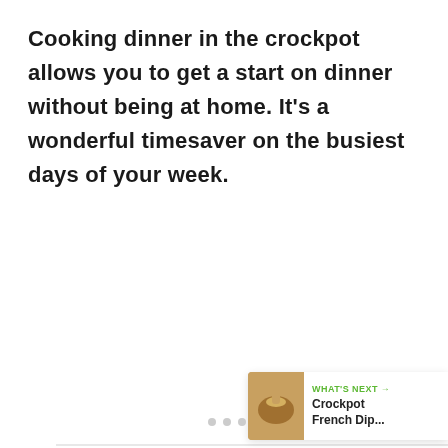Cooking dinner in the crockpot allows you to get a start on dinner without being at home. It's a wonderful timesaver on the busiest days of your week.
[Figure (photo): Light gray placeholder image area with a 'WHAT'S NEXT' banner at the bottom right showing a crockpot French Dip thumbnail, a green heart/like button showing 150, and a share button.]